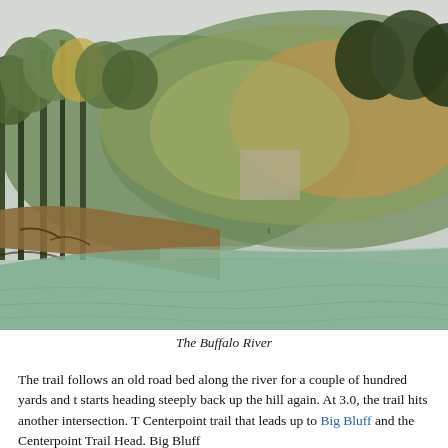[Figure (photo): A wide, calm river (the Buffalo River) with greenish-turquoise water in the foreground. The far bank is lined with deciduous trees in autumn colors — green, yellow, and orange. Behind the trees rises a forested hillside covered in fall foliage. The sky is overcast and pale. The near bank has exposed muddy ground with tree roots.]
The Buffalo River
The trail follows an old road bed along the river for a couple of hundred yards and then starts heading steeply back up the hill again. At 3.0, the trail hits another intersection. T... Centerpoint trail that leads up to Big Bluff and the Centerpoint Trail Head. Big Bluff...